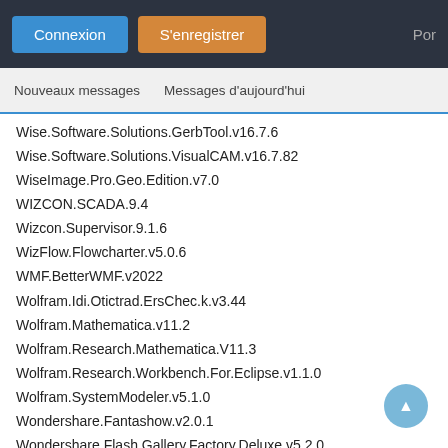Connexion  S'enregistrer  Por
Nouveaux messages   Messages d'aujourd'hui
Wise.Software.Solutions.GerbTool.v16.7.6
Wise.Software.Solutions.VisualCAM.v16.7.82
WiseImage.Pro.Geo.Edition.v7.0
WIZCON.SCADA.9.4
Wizcon.Supervisor.9.1.6
WizFlow.Flowcharter.v5.0.6
WMF.BetterWMF.v2022
Wolfram.Idi.Otictrad.ErsChec.k.v3.44
Wolfram.Mathematica.v11.2
Wolfram.Research.Mathematica.V11.3
Wolfram.Research.Workbench.For.Eclipse.v1.1.0
Wolfram.SystemModeler.v5.1.0
Wondershare.Fantashow.v2.0.1
Wondershare.Flash.Gallery.Factory.Deluxe.v5.2.0
Wonderware.Industrial.Application.Server.v2.1.000
Wonderware.InTouch.v10.1
Wonderware.Suitevoyager.3.0